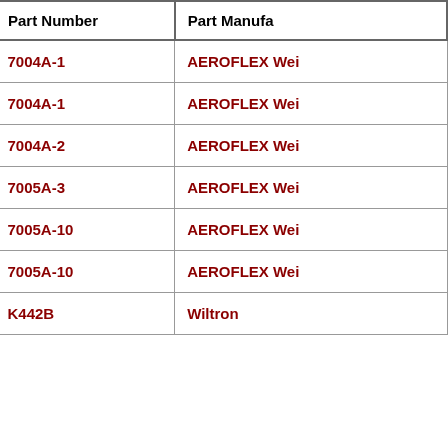| Part Number | Part Manufacturer |
| --- | --- |
| 7004A-1 | AEROFLEX Wei... |
| 7004A-1 | AEROFLEX Wei... |
| 7004A-2 | AEROFLEX Wei... |
| 7005A-3 | AEROFLEX Wei... |
| 7005A-10 | AEROFLEX Wei... |
| 7005A-10 | AEROFLEX Wei... |
| K442B | Wiltron |
| Part Number | Alt Part Number |
| --- | --- |
| 033-0001-0001 | . |